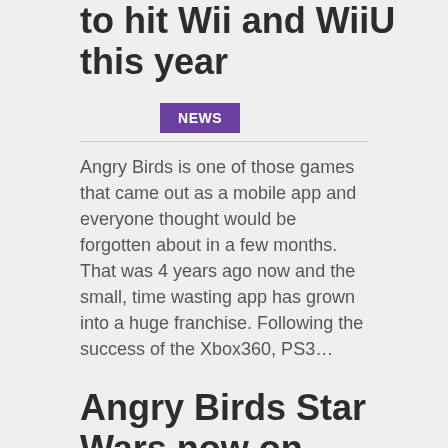to hit Wii and WiiU this year
NEWS
Angry Birds is one of those games that came out as a mobile app and everyone thought would be forgotten about in a few months. That was 4 years ago now and the small, time wasting app has grown into a huge franchise. Following the success of the Xbox360, PS3…
Angry Birds Star Wars now on Facebook!
NEWS